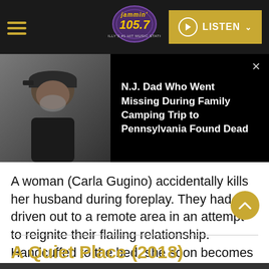Jammin' 105.7 — LISTEN
[Figure (photo): Man in black cap and black shirt, with grey beard, against a dark background]
N.J. Dad Who Went Missing During Family Camping Trip to Pennsylvania Found Dead
A woman (Carla Gugino) accidentally kills her husband during foreplay. They had driven out to a remote area in an attempt to reignite their flailing relationship. Handcuffed to the bed, she soon becomes delirious.
A Quiet Place (2018)